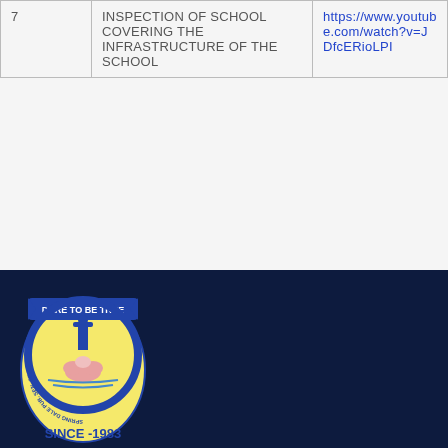| # | Description | Link |
| --- | --- | --- |
| 7 | INSPECTION OF SCHOOL COVERING THE INFRASTRUCTURE OF THE SCHOOL | https://www.youtube.com/watch?v=JDfcERioLPI |
[Figure (logo): Spring Dale Pub. Sen. Sec. School, Khanna circular emblem with motto 'DARE TO BE TRUE' and text 'SINCE-1983']